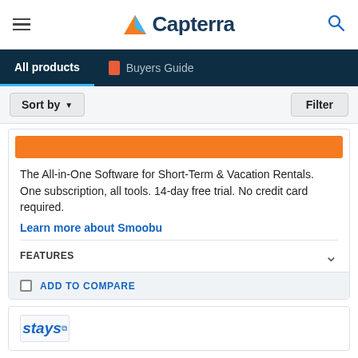Capterra
All products | Buyers Guide
Sort by   Filter
The All-in-One Software for Short-Term & Vacation Rentals. One subscription, all tools. 14-day free trial. No credit card required.
Learn more about Smoobu
FEATURES
ADD TO COMPARE
stays